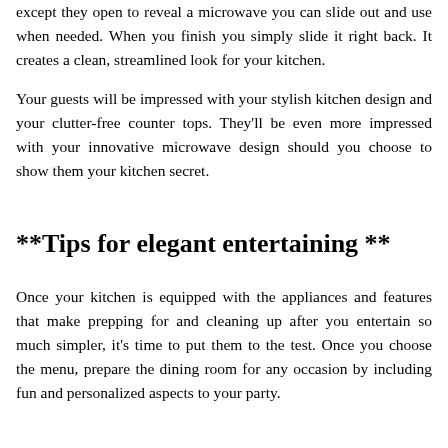except they open to reveal a microwave you can slide out and use when needed. When you finish you simply slide it right back. It creates a clean, streamlined look for your kitchen.
Your guests will be impressed with your stylish kitchen design and your clutter-free counter tops. They'll be even more impressed with your innovative microwave design should you choose to show them your kitchen secret.
**Tips for elegant entertaining **
Once your kitchen is equipped with the appliances and features that make prepping for and cleaning up after you entertain so much simpler, it's time to put them to the test. Once you choose the menu, prepare the dining room for any occasion by including fun and personalized aspects to your party.